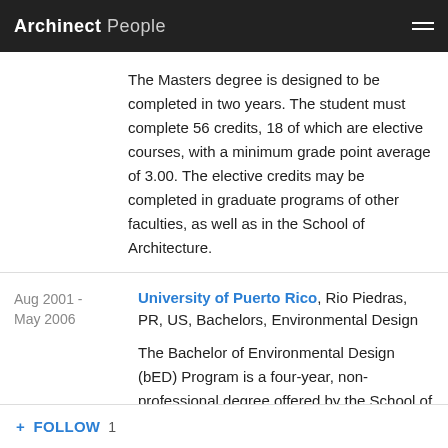Archinect People
The Masters degree is designed to be completed in two years. The student must complete 56 credits, 18 of which are elective courses, with a minimum grade point average of 3.00. The elective credits may be completed in graduate programs of other faculties, as well as in the School of Architecture.
Aug 2001 - May 2006
University of Puerto Rico, Rio Piedras, PR, US, Bachelors, Environmental Design
The Bachelor of Environmental Design (bED) Program is a four-year, non-professional degree offered by the School of Architecture. It is intended as a preparatory degree for students interested in pursuing a professional graduate degree in